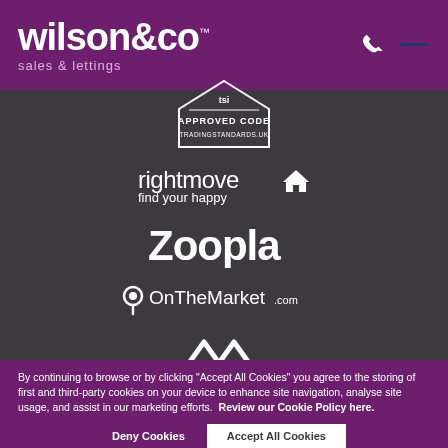[Figure (logo): wilson&co sales & lettings logo in white on purple header, with phone icon and hamburger menu icon]
[Figure (logo): TSI Approved Code Trading Standards UK badge (pentagon/house shape)]
[Figure (logo): Rightmove logo with house icon and tagline 'find your happy']
[Figure (logo): Zoopla logo in white text]
[Figure (logo): OnTheMarket.com logo with location pin icon]
[Figure (logo): White roof/house icon (partially visible)]
By continuing to browse or by clicking "Accept All Cookies" you agree to the storing of first and third-party cookies on your device to enhance site navigation, analyse site usage, and assist in our marketing efforts.  Review our Cookie Policy here.
Deny Cookies
Accept All Cookies